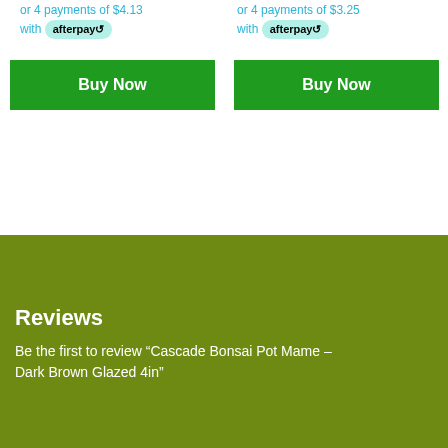or 4 payments of $4.13 with afterpay
or 4 payments of $3.25 with afterpay
Buy Now
Buy Now
Reviews
Be the first to review “Cascade Bonsai Pot Mame – Dark Brown Glazed 4in”